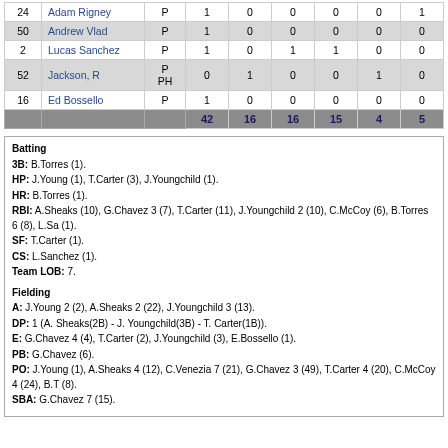| # | Name | Pos |  |  |  |  |  |  |
| --- | --- | --- | --- | --- | --- | --- | --- | --- |
| 24 | Adam Rigney | P | 1 | 0 | 0 | 0 | 0 | 1 |
| 50 | Andrew Vlad | P | 1 | 0 | 0 | 0 | 0 | 0 |
| 2 | Lucas Sanchez | P | 1 | 0 | 1 | 1 | 0 | 0 |
| 52 | Jackson, R | P PH | 0 | 1 | 0 | 0 | 1 | 0 |
| 16 | Ed Bossello | P | 1 | 0 | 0 | 0 | 0 | 0 |
|  |  |  | 42 | 16 | 16 | 15 | 4 | 5 |
Batting
3B: B.Torres (1).
HP: J.Young (1), T.Carter (3), J.Youngchild (1).
HR: B.Torres (1).
RBI: A.Sheaks (10), G.Chavez 3 (7), T.Carter (11), J.Youngchild 2 (10), C.McCoy (6), B.Torres 6 (8), L.Sa... (1).
SF: T.Carter (1).
CS: L.Sanchez (1).
Team LOB: 7.

Fielding
A: J.Young 2 (2), A.Sheaks 2 (22), J.Youngchild 3 (13).
DP: 1 (A. Sheaks(2B) - J. Youngchild(3B) - T. Carter(1B)).
E: G.Chavez 4 (4), T.Carter (2), J.Youngchild (3), E.Bossello (1).
PB: G.Chavez (6).
PO: J.Young (1), A.Sheaks 4 (12), C.Venezia 7 (21), G.Chavez 3 (49), T.Carter 4 (20), C.McCoy 4 (24), B.T... (8).
SBA: G.Chavez 7 (15).